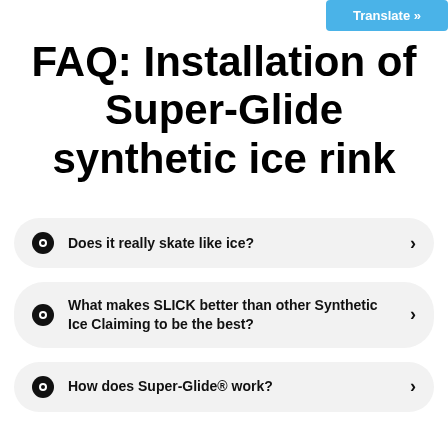Translate »
FAQ: Installation of Super-Glide synthetic ice rink
Does it really skate like ice?
What makes SLICK better than other Synthetic Ice Claiming to be the best?
How does Super-Glide® work?